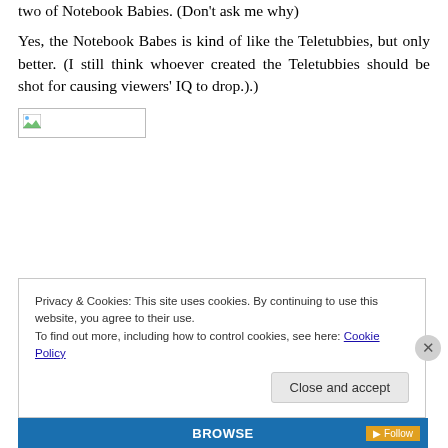two of Notebook Babies. (Don't ask me why)
Yes, the Notebook Babes is kind of like the Teletubbies, but only better. (I still think whoever created the Teletubbies should be shot for causing viewers' IQ to drop.).)
[Figure (photo): Broken image placeholder box]
Privacy & Cookies: This site uses cookies. By continuing to use this website, you agree to their use.
To find out more, including how to control cookies, see here: Cookie Policy